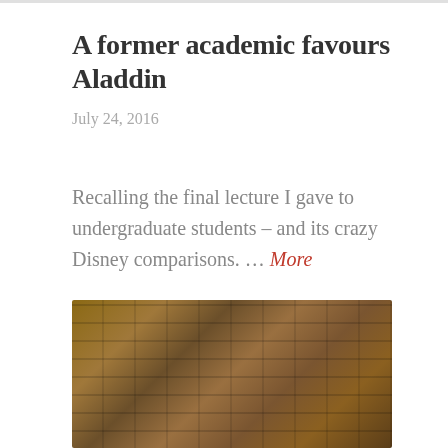A former academic favours Aladdin
July 24, 2016
Recalling the final lecture I gave to undergraduate students – and its crazy Disney comparisons. … More
[Figure (other): Icon bar with comment and share icons on a light grey background]
[Figure (photo): Photograph of a brick or stone wall with warm brown and tan tones]